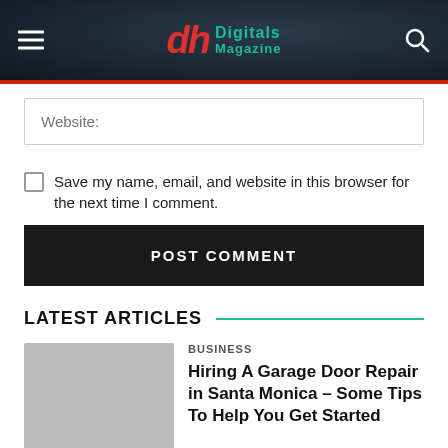Digitals Magazine
Website:
Save my name, email, and website in this browser for the next time I comment.
POST COMMENT
LATEST ARTICLES
BUSINESS
Hiring A Garage Door Repair in Santa Monica – Some Tips To Help You Get Started